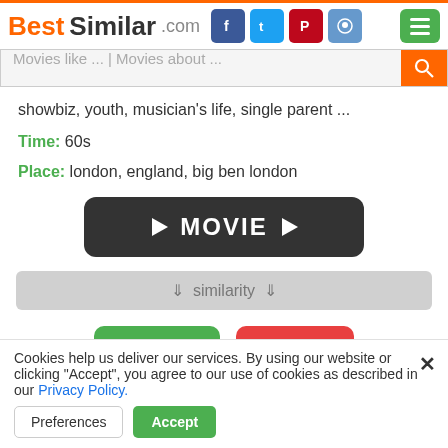BestSimilar.com [social icons] [menu]
Movies like ... | Movies about ...
showbiz, youth, musician's life, single parent ...
Time: 60s
Place: london, england, big ben london
[Figure (other): Dark rounded button with play arrow icons and text MOVIE]
⇓ similarity ⇓
[Figure (other): Yes thumbs-up green button and No thumbs-down red button]
Cookies help us deliver our services. By using our website or clicking "Accept", you agree to our use of cookies as described in our Privacy Policy.